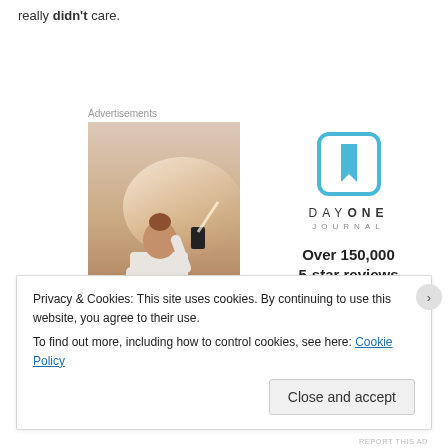really didn't care.
Advertisements
[Figure (photo): Person seen from behind taking a photo with a phone against a sunset sky]
[Figure (logo): Day One Journal app logo — blue square with bookmark icon, brand name DAYONE JOURNAL, Over 150,000 5-star reviews with five stars]
Privacy & Cookies: This site uses cookies. By continuing to use this website, you agree to their use.
To find out more, including how to control cookies, see here: Cookie Policy
Close and accept